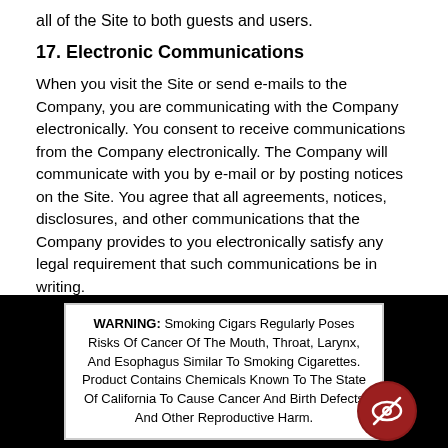all of the Site to both guests and users.
17. Electronic Communications
When you visit the Site or send e-mails to the Company, you are communicating with the Company electronically. You consent to receive communications from the Company electronically. The Company will communicate with you by e-mail or by posting notices on the Site. You agree that all agreements, notices, disclosures, and other communications that the Company provides to you electronically satisfy any legal requirement that such communications be in writing.
18. Support; Questions; Comments
WARNING: Smoking Cigars Regularly Poses Risks Of Cancer Of The Mouth, Throat, Larynx, And Esophagus Similar To Smoking Cigarettes. Product Contains Chemicals Known To The State Of California To Cause Cancer And Birth Defects And Other Reproductive Harm.